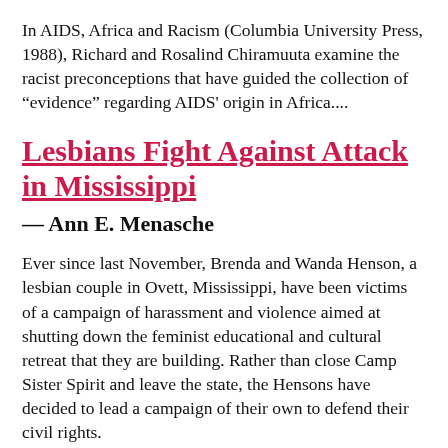In AIDS, Africa and Racism (Columbia University Press, 1988), Richard and Rosalind Chiramuuta examine the racist preconceptions that have guided the collection of “evidence” regarding AIDS' origin in Africa....
Lesbians Fight Against Attack in Mississippi
— Ann E. Menasche
Ever since last November, Brenda and Wanda Henson, a lesbian couple in Ovett, Mississippi, have been victims of a campaign of harassment and violence aimed at shutting down the feminist educational and cultural retreat that they are building. Rather than close Camp Sister Spirit and leave the state, the Hensons have decided to lead a campaign of their own to defend their civil rights.